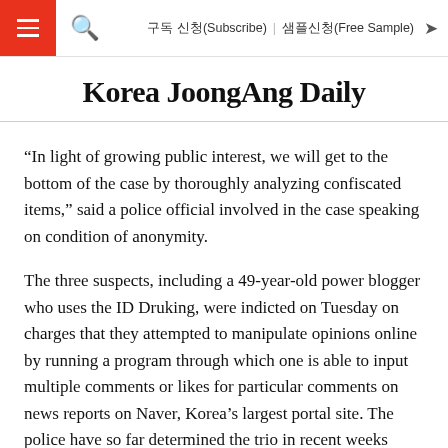구독 신청(Subscribe)   샘플신청(Free Sample)
Korea JoongAng Daily
“In light of growing public interest, we will get to the bottom of the case by thoroughly analyzing confiscated items,” said a police official involved in the case speaking on condition of anonymity.
The three suspects, including a 49-year-old power blogger who uses the ID Druking, were indicted on Tuesday on charges that they attempted to manipulate opinions online by running a program through which one is able to input multiple comments or likes for particular comments on news reports on Naver, Korea’s largest portal site. The police have so far determined the trio in recent weeks made 614 likes of remarks criticizing President Moon Jae-in’s decision to field a joint women’s hockey team with North Korea for the PyeongChang Winter Olympic Games